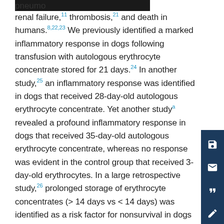pneumo[redacted] renal failure,11 thrombosis,21 and death in humans.8,22,23 We previously identified a marked inflammatory response in dogs following transfusion with autologous erythrocyte concentrate stored for 21 days.24 In another study,25 an inflammatory response was identified in dogs that received 28-day-old autologous erythrocyte concentrate. Yet another studya revealed a profound inflammatory response in dogs that received 35-day-old autologous erythrocyte concentrate, whereas no response was evident in the control group that received 3-day-old erythrocytes. In a large retrospective study,26 prolonged storage of erythrocyte concentrates (> 14 days vs < 14 days) was identified as a risk factor for nonsurvival in dogs